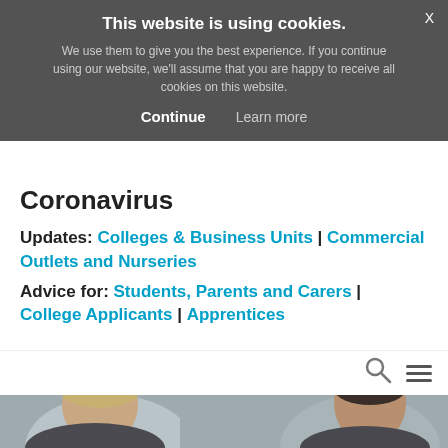This website is using cookies. We use them to give you the best experience. If you continue using our website, we'll assume that you are happy to receive all cookies on this website. Continue | Learn more
Coronavirus
Updates: Colleges & Business Units | Commercial Outlets and Nurseries
Advice for: Students, Parents and Carers | College Applicants | Apprentices
[Figure (photo): Two young men visible from shoulders up, photographed in a classroom or office setting. Left person has short blonde hair, right person has short dark hair.]